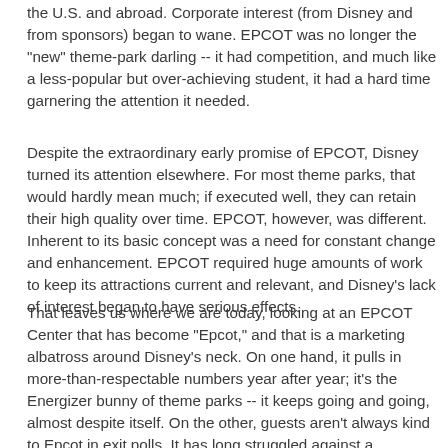the U.S. and abroad. Corporate interest (from Disney and from sponsors) began to wane. EPCOT was no longer the "new" theme-park darling -- it had competition, and much like a less-popular but over-achieving student, it had a hard time garnering the attention it needed.
Despite the extraordinary early promise of EPCOT, Disney turned its attention elsewhere. For most theme parks, that would hardly mean much; if executed well, they can retain their high quality over time. EPCOT, however, was different. Inherent to its basic concept was a need for constant change and enhancement. EPCOT required huge amounts of work to keep its attractions current and relevant, and Disney's lack of interest began to have serious effects.
That leaves us where we are today, looking at an EPCOT Center that has become "Epcot," and that is a marketing albatross around Disney's neck. On one hand, it pulls in more-than-respectable numbers year after year; it's the Energizer bunny of theme parks -- it keeps going and going, almost despite itself. On the other, guests aren't always kind to Epcot in exit polls. It has long struggled against a